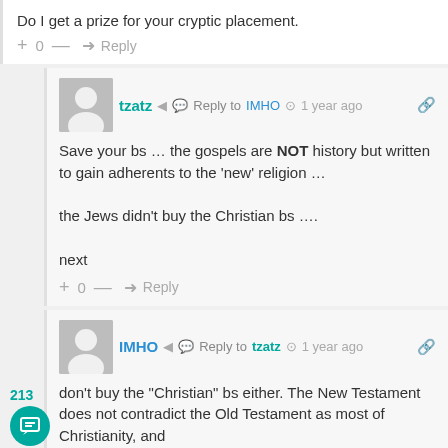Do I get a prize for your cryptic placement.
+ 0 — ➜ Reply
tzatz  Reply to IMHO  1 year ago
Save your bs … the gospels are NOT history but written to gain adherents to the 'new' religion …

the Jews didn't buy the Christian bs ….

next
+ 0 — ➜ Reply
IMHO  Reply to tzatz  1 year ago
don't buy the "Christian" bs either. The New Testament does not contradict the Old Testament as most of Christianity, and